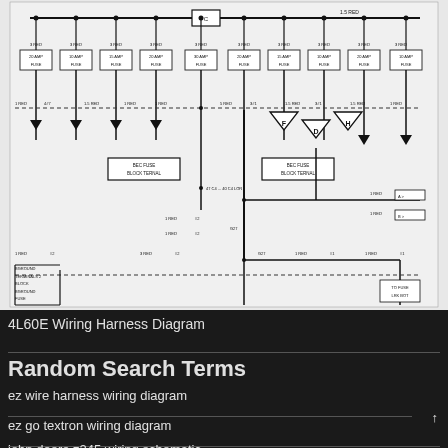[Figure (schematic): 4L60E wiring harness schematic diagram showing multiple fuse connections, relay components, ground terminals labeled with letters F, D, H, and numerous wire gauges and circuit references on a white/light gray background.]
4L60E Wiring Harness Diagram
Random Search Terms
ez wire harness wiring diagram
ez go textron wiring diagram
john deere z245 wiring schematic